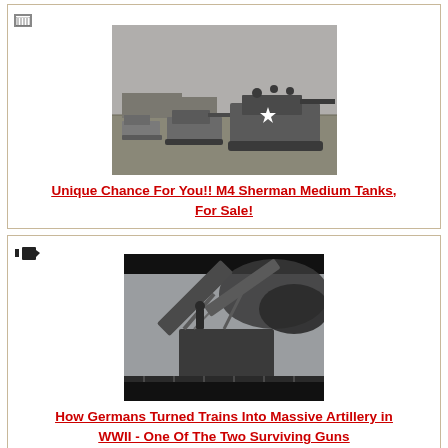[Figure (photo): Black and white photograph of M4 Sherman medium tanks moving across a field in a column formation, with a white star visible on the lead tank.]
Unique Chance For You!! M4 Sherman Medium Tanks, For Sale!
[Figure (photo): Black and white photograph of a German railway gun (massive artillery mounted on a train), with smoke or cloud in the background and a soldier visible.]
How Germans Turned Trains Into Massive Artillery in WWII - One Of The Two Surviving Guns